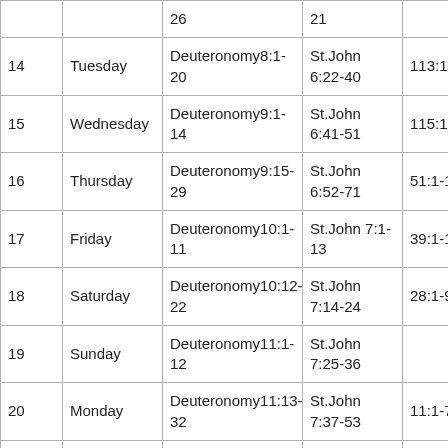|  |  | 26 | 21 |  |
| 14 | Tuesday | Deuteronomy8:1-20 | St.John 6:22-40 | 113:1-9 |
| 15 | Wednesday | Deuteronomy9:1-14 | St.John 6:41-51 | 115:1-18 |
| 16 | Thursday | Deuteronomy9:15-29 | St.John 6:52-71 | 51:1-19 |
| 17 | Friday | Deuteronomy10:1-11 | St.John 7:1-13 | 39:1-13 |
| 18 | Saturday | Deuteronomy10:12-22 | St.John 7:14-24 | 28:1-9 |
| 19 | Sunday | Deuteronomy11:1-12 | St.John 7:25-36 |  |
| 20 | Monday | Deuteronomy11:13-32 | St.John 7:37-53 | 11:1-7 |
| 21 | Tuesday | Deuteronomy12:1-17 | St.John 8:1-20 | 14:1-7 |
| 22 | Wednesday | Deuteronomy12:18-31 | St.John 8:21-41 | 8:1-9 |
|  |  | Deuteronomy13:1- | St.John 8:42- |  |